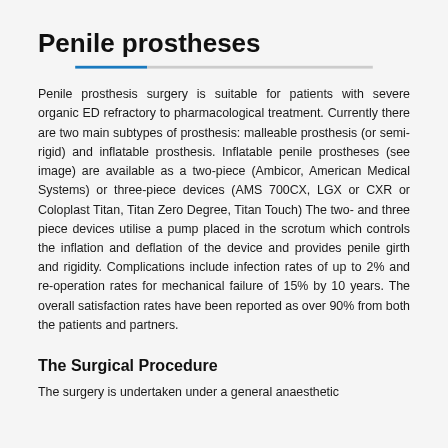Penile prostheses
Penile prosthesis surgery is suitable for patients with severe organic ED refractory to pharmacological treatment. Currently there are two main subtypes of prosthesis: malleable prosthesis (or semi-rigid) and inflatable prosthesis. Inflatable penile prostheses (see image) are available as a two-piece (Ambicor, American Medical Systems) or three-piece devices (AMS 700CX, LGX or CXR or Coloplast Titan, Titan Zero Degree, Titan Touch) The two- and three piece devices utilise a pump placed in the scrotum which controls the inflation and deflation of the device and provides penile girth and rigidity. Complications include infection rates of up to 2% and re-operation rates for mechanical failure of 15% by 10 years. The overall satisfaction rates have been reported as over 90% from both the patients and partners.
The Surgical Procedure
The surgery is undertaken under a general anaesthetic